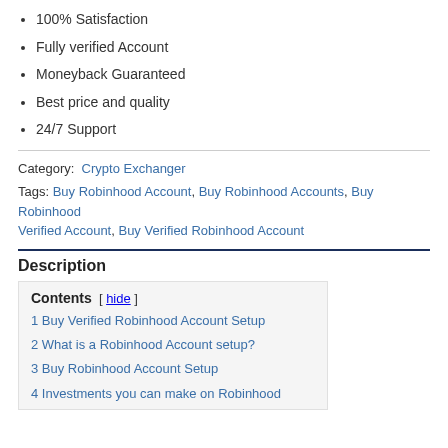100% Satisfaction
Fully verified Account
Moneyback Guaranteed
Best price and quality
24/7 Support
Category: Crypto Exchanger
Tags: Buy Robinhood Account, Buy Robinhood Accounts, Buy Robinhood Verified Account, Buy Verified Robinhood Account
Description
Contents [ hide ]
1 Buy Verified Robinhood Account Setup
2 What is a Robinhood Account setup?
3 Buy Robinhood Account Setup
4 Investments you can make on Robinhood